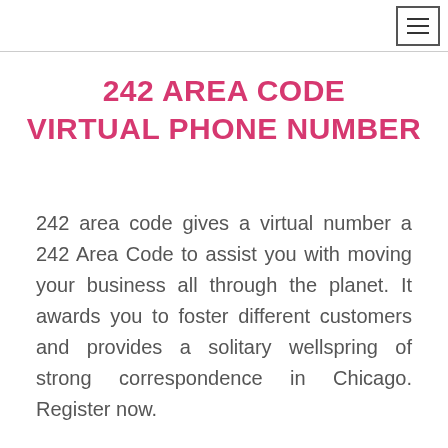≡
242 AREA CODE VIRTUAL PHONE NUMBER
242 area code gives a virtual number a 242 Area Code to assist you with moving your business all through the planet. It awards you to foster different customers and provides a solitary wellspring of strong correspondence in Chicago. Register now.